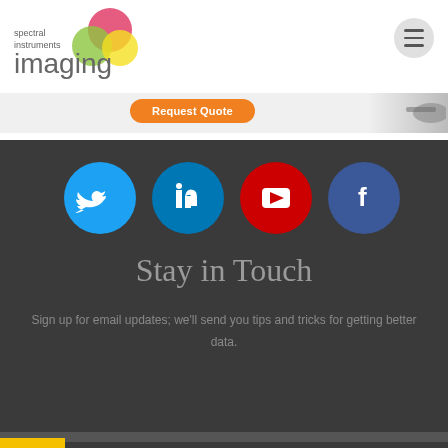[Figure (logo): Spectral Instruments Imaging logo with colorful overlapping circles (pink, green, yellow) and text 'spectral instruments imaging']
[Figure (screenshot): Orange 'Request Quote' button and partial product image on the right]
[Figure (infographic): Dark section with four social media icons: Twitter (blue circle), LinkedIn (teal circle), YouTube (red circle), Facebook (dark blue circle)]
Stay in Touch
Sign up for email updates; we'll send you tips and tricks for getting better data.